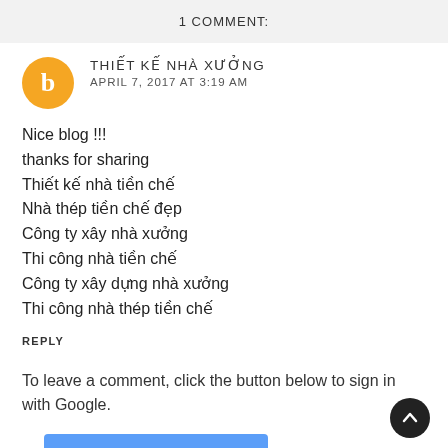1 COMMENT:
THIẾT KẾ NHÀ XƯỞNG
APRIL 7, 2017 AT 3:19 AM
Nice blog !!!
thanks for sharing
Thiết kế nhà tiền chế
Nhà thép tiền chế đẹp
Công ty xây nhà xưởng
Thi công nhà tiền chế
Công ty xây dựng nhà xưởng
Thi công nhà thép tiền chế
REPLY
To leave a comment, click the button below to sign in with Google.